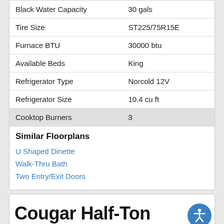| Specification | Value |
| --- | --- |
| Black Water Capacity | 30 gals |
| Tire Size | ST225/75R15E |
| Furnace BTU | 30000 btu |
| Available Beds | King |
| Refrigerator Type | Norcold 12V |
| Refrigerator Size | 10.4 cu ft |
| Cooktop Burners | 3 |
Similar Floorplans
U Shaped Dinette
Walk-Thru Bath
Two Entry/Exit Doors
Cougar Half-Ton 26RBS